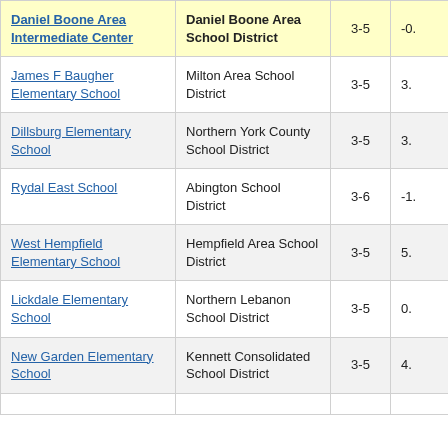| School | District | Grades | Value |
| --- | --- | --- | --- |
| Daniel Boone Area Intermediate Center | Daniel Boone Area School District | 3-5 | -0. |
| James F Baugher Elementary School | Milton Area School District | 3-5 | 3. |
| Dillsburg Elementary School | Northern York County School District | 3-5 | 3. |
| Rydal East School | Abington School District | 3-6 | -1. |
| West Hempfield Elementary School | Hempfield Area School District | 3-5 | 5. |
| Lickdale Elementary School | Northern Lebanon School District | 3-5 | 0. |
| New Garden Elementary School | Kennett Consolidated School District | 3-5 | 4. |